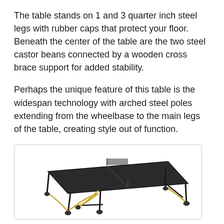The table stands on 1 and 3 quarter inch steel legs with rubber caps that protect your floor. Beneath the center of the table are the two steel castor beans connected by a wooden cross brace support for added stability.
Perhaps the unique feature of this table is the widespan technology with arched steel poles extending from the wheelbase to the main legs of the table, creating style out of function.
[Figure (photo): A ping pong / table tennis table shown in 3/4 perspective view with a dark top surface, black steel legs, gold/yellow arched widespan steel support poles connecting the wheelbase to the main legs, and small caster wheels at the base. A net is visible across the middle of the table.]